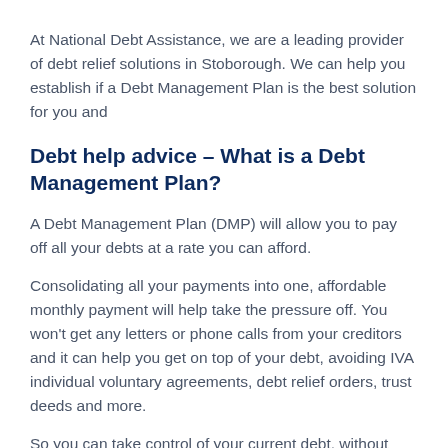At National Debt Assistance, we are a leading provider of debt relief solutions in Stoborough. We can help you establish if a Debt Management Plan is the best solution for you and
Debt help advice – What is a Debt Management Plan?
A Debt Management Plan (DMP) will allow you to pay off all your debts at a rate you can afford.
Consolidating all your payments into one, affordable monthly payment will help take the pressure off. You won't get any letters or phone calls from your creditors and it can help you get on top of your debt, avoiding IVA individual voluntary agreements, debt relief orders, trust deeds and more.
So you can take control of your current debt, without